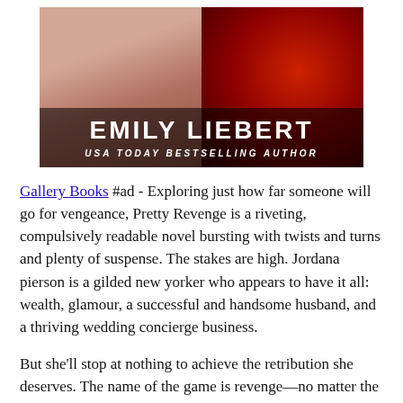[Figure (illustration): Book cover image for Emily Liebert's 'Pretty Revenge'. Left half shows a close-up of a person's face/skin in warm tones, right half shows a deep red background. Overlaid text reads 'EMILY LIEBERT' in large bold white uppercase letters, and below 'USA TODAY BESTSELLING AUTHOR' in smaller bold white italic uppercase letters.]
Gallery Books #ad - Exploring just how far someone will go for vengeance, Pretty Revenge is a riveting, compulsively readable novel bursting with twists and turns and plenty of suspense. The stakes are high. Jordana pierson is a gilded new yorker who appears to have it all: wealth, glamour, a successful and handsome husband, and a thriving wedding concierge business.
But she'll stop at nothing to achieve the retribution she deserves. The name of the game is revenge—no matter the cost—in this emotionally charged thriller